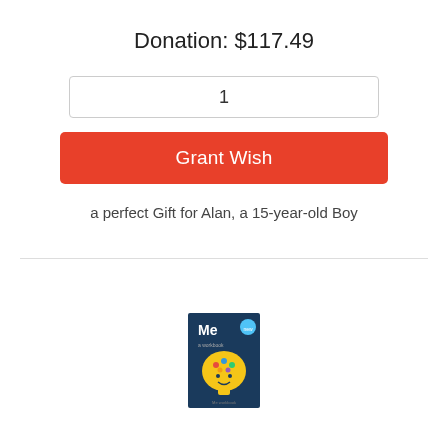Donation: $117.49
1
Grant Wish
a perfect Gift for Alan, a 15-year-old Boy
[Figure (illustration): Book cover: 'Me' workbook with a cartoon yellow head/brain with colorful items inside, dark navy blue background]